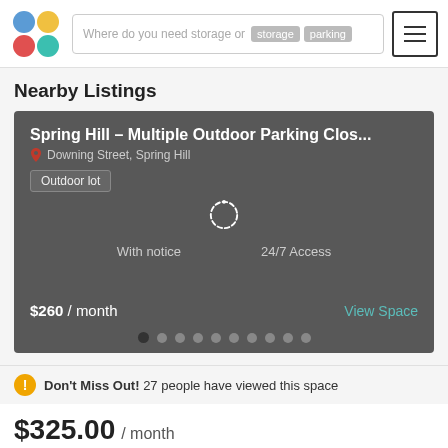[Figure (screenshot): App header with colorful logo dots, search bar with 'storage' and 'parking' badges, and hamburger menu button]
Nearby Listings
[Figure (screenshot): Listing card for 'Spring Hill - Multiple Outdoor Parking Clos...' at Downing Street, Spring Hill. Outdoor lot tag, With notice and 24/7 Access features, loading spinner, $260/month price, View Space link, and pagination dots]
Don't Miss Out! 27 people have viewed this space
$325.00 / month